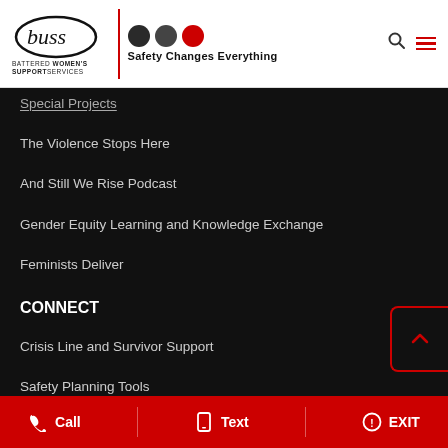[Figure (logo): BUSS - Battered Women's Support Services logo with tagline 'Safety Changes Everything' and three circles (two dark, one red)]
Special Projects
The Violence Stops Here
And Still We Rise Podcast
Gender Equity Learning and Knowledge Exchange
Feminists Deliver
CONNECT
Crisis Line and Survivor Support
Safety Planning Tools
Call   Text   EXIT